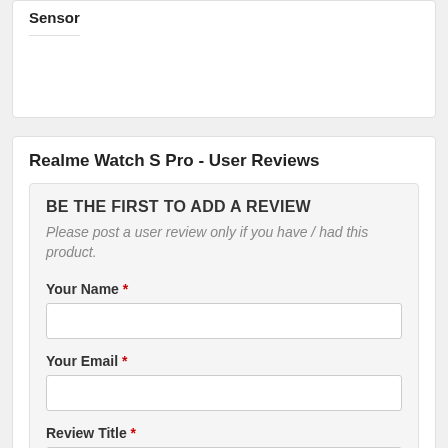Sensor
Realme Watch S Pro - User Reviews
BE THE FIRST TO ADD A REVIEW
Please post a user review only if you have / had this product.
Your Name *
Your Email *
Review Title *